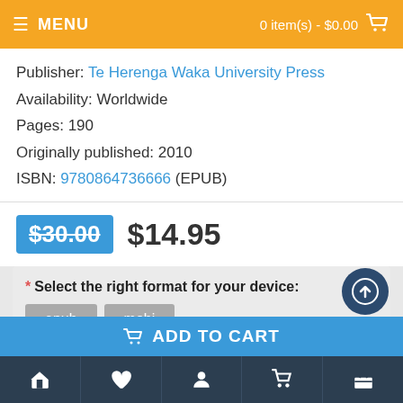MENU | 0 item(s) - $0.00
Publisher: Te Herenga Waka University Press
Availability: Worldwide
Pages: 190
Originally published: 2010
ISBN: 9780864736666 (EPUB)
$30.00  $14.95
* Select the right format for your device: epub  mobi
The EPUB format works on most modern devices, but not the Amazon Kindle. Refer to our guide to see if EPUB suits your device.
Home | Wishlist | Account | Cart | Basket